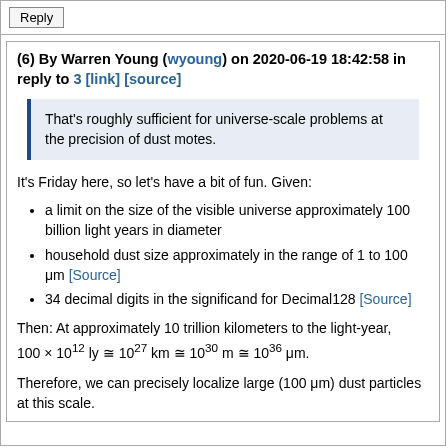Reply
(6) By Warren Young (wyoung) on 2020-06-19 18:42:58 in reply to 3 [link] [source]
That's roughly sufficient for universe-scale problems at the precision of dust motes.
It's Friday here, so let's have a bit of fun. Given:
a limit on the size of the visible universe approximately 100 billion light years in diameter
household dust size approximately in the range of 1 to 100 μm [Source]
34 decimal digits in the significand for Decimal128 [Source]
Then: At approximately 10 trillion kilometers to the light-year, 100 × 10^12 ly ≅ 10^27 km ≅ 10^30 m ≅ 10^36 μm.
Therefore, we can precisely localize large (100 μm) dust particles at this scale.